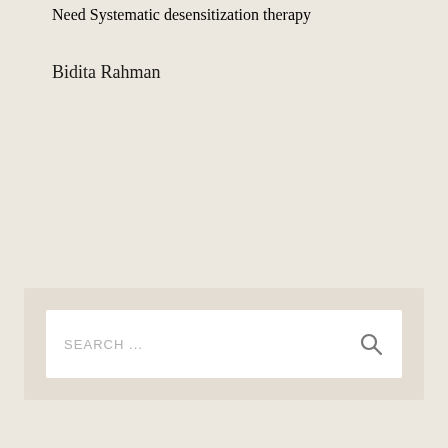Need Systematic desensitization therapy
Bidita Rahman
[Figure (screenshot): Search bar widget with placeholder text 'SEARCH ...' and a magnifying glass icon on the right, on a light beige background panel]